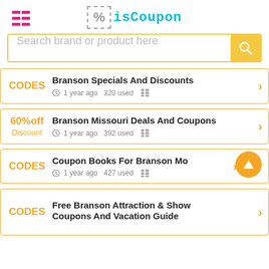[Figure (logo): isCoupon website logo with hamburger menu icon, percent sign in dashed box, and stylized 'isCoupon' text in teal]
Search brand or product here
CODES  Branson Specials And Discounts  1 year ago  320 used
60%off Discount  Branson Missouri Deals And Coupons  1 year ago  392 used
CODES  Coupon Books For Branson Mo  1 year ago  427 used
CODES  Free Branson Attraction & Show Coupons And Vacation Guide